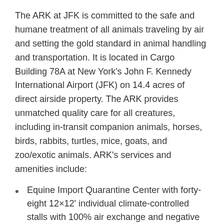The ARK at JFK is committed to the safe and humane treatment of all animals traveling by air and setting the gold standard in animal handling and transportation. It is located in Cargo Building 78A at New York's John F. Kennedy International Airport (JFK) on 14.4 acres of direct airside property. The ARK provides unmatched quality care for all creatures, including in-transit companion animals, horses, birds, rabbits, turtles, mice, goats, and zoo/exotic animals. ARK's services and amenities include:
Equine Import Quarantine Center with forty-eight 12×12' individual climate-controlled stalls with 100% air exchange and negative pressure
Equine Export Center with twenty-three 12×12' stalls
In-transit quarters to facilitate inspection of in-transit birds and other exotic animals